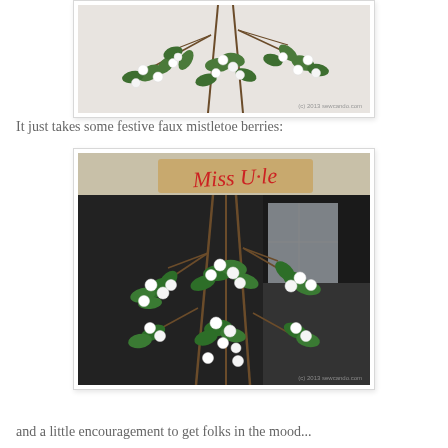[Figure (photo): Close-up photo of faux mistletoe branches with white berries and green leaves against a light background. Watermark: (c) 2013 sewcando.com]
It just takes some festive faux mistletoe berries:
[Figure (photo): Photo of faux mistletoe hanging with white berries and green leaves in a dark interior setting. A burlap sign reading 'Miss U-le' in red script is attached at top. Watermark: (c) 2013 sewcando.com]
and a little encouragement to get folks in the mood...